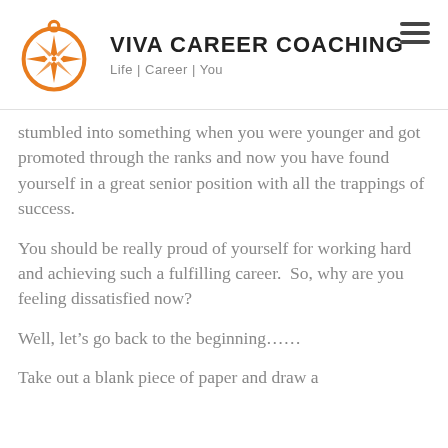Viva Career Coaching — Life | Career | You
stumbled into something when you were younger and got promoted through the ranks and now you have found yourself in a great senior position with all the trappings of success.
You should be really proud of yourself for working hard and achieving such a fulfilling career.  So, why are you feeling dissatisfied now?
Well, let's go back to the beginning……
Take out a blank piece of paper and draw a